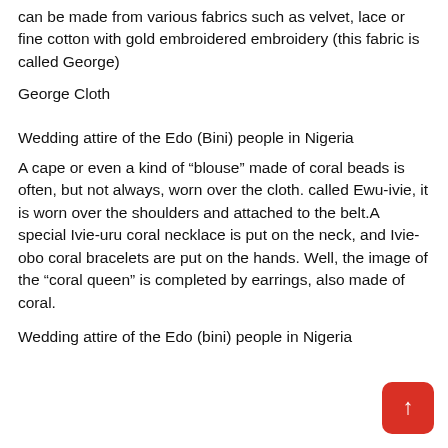can be made from various fabrics such as velvet, lace or fine cotton with gold embroidered embroidery (this fabric is called George)
George Cloth
Wedding attire of the Edo (Bini) people in Nigeria
A cape or even a kind of “blouse” made of coral beads is often, but not always, worn over the cloth. called Ewu-ivie, it is worn over the shoulders and attached to the belt.A special Ivie-uru coral necklace is put on the neck, and Ivie-obo coral bracelets are put on the hands. Well, the image of the “coral queen” is completed by earrings, also made of coral.
Wedding attire of the Edo (bini) people in Nigeria